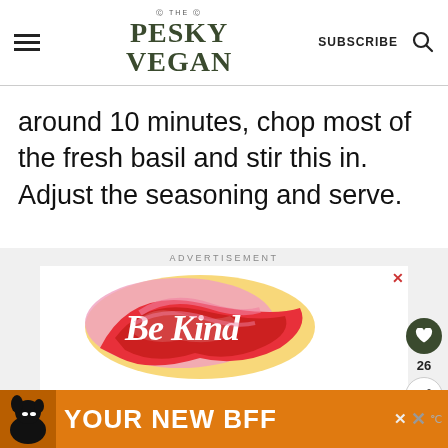THE PESKY VEGAN | SUBSCRIBE
around 10 minutes, chop most of the fresh basil and stir this in. Adjust the seasoning and serve.
[Figure (illustration): Advertisement section with 'Be Kind' colorful lettering graphic in red, pink, and orange swirling typography]
[Figure (illustration): Bottom banner advertisement showing a dog and text 'YOUR NEW BFF' on orange background]